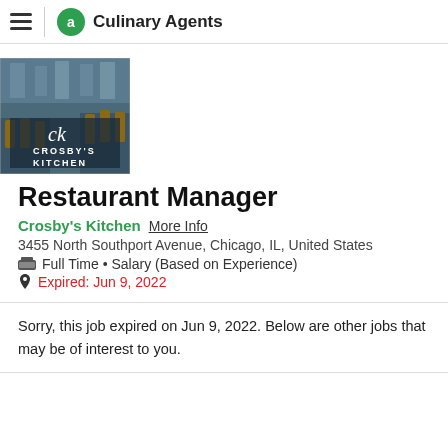Culinary Agents
[Figure (logo): Crosby's Kitchen restaurant interior photo with ck logo and CROSBY'S KITCHEN text overlay]
Restaurant Manager
Crosby's Kitchen   More Info
3455 North Southport Avenue, Chicago, IL, United States
Full Time • Salary (Based on Experience)
Expired: Jun 9, 2022
Sorry, this job expired on Jun 9, 2022. Below are other jobs that may be of interest to you.